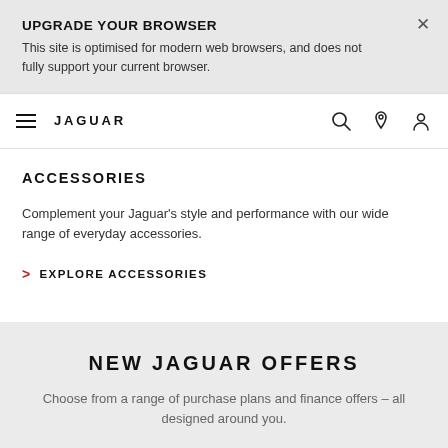UPGRADE YOUR BROWSER
This site is optimised for modern web browsers, and does not fully support your current browser.
[Figure (other): Navigation bar with hamburger menu, JAGUAR brand name, search icon, location pin icon, and user/account icon]
ACCESSORIES
Complement your Jaguar's style and performance with our wide range of everyday accessories.
> EXPLORE ACCESSORIES
NEW JAGUAR OFFERS
Choose from a range of purchase plans and finance offers – all designed around you.